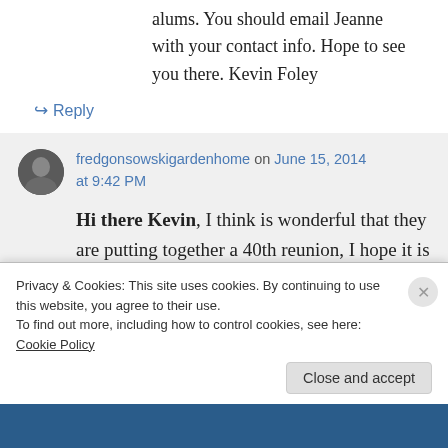alums. You should email Jeanne with your contact info. Hope to see you there. Kevin Foley
↪ Reply
fredgonsowskigardenhome on June 15, 2014 at 9:42 PM
Hi there Kevin, I think is wonderful that they are putting together a 40th reunion, I hope it is an enjoyable event for all who
Privacy & Cookies: This site uses cookies. By continuing to use this website, you agree to their use.
To find out more, including how to control cookies, see here: Cookie Policy
Close and accept